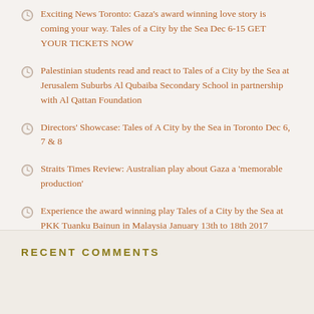Exciting News Toronto: Gaza's award winning love story is coming your way. Tales of a City by the Sea Dec 6-15 GET YOUR TICKETS NOW
Palestinian students read and react to Tales of a City by the Sea at Jerusalem Suburbs Al Qubaiba Secondary School in partnership with Al Qattan Foundation
Directors' Showcase: Tales of A City by the Sea in Toronto Dec 6, 7 & 8
Straits Times Review: Australian play about Gaza a 'memorable production'
Experience the award winning play Tales of a City by the Sea at PKK Tuanku Bainun in Malaysia January 13th to 18th 2017
RECENT COMMENTS